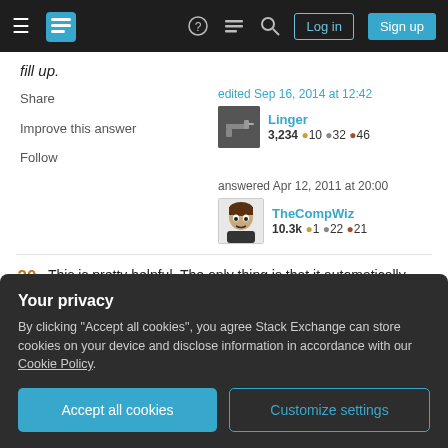Stack Exchange navigation bar with Log in and Sign up buttons
fill up.
Share  Improve this answer  Follow
edited Sep 16, 2014 at 12:42  Linger  3,234 ● 10 ● 32 ● 46
answered Apr 12, 2011 at 20:00  TheCompWiz  10.3k ● 1 ● 22 ● 21
20  This is pretty helpful. The only thing is that it automatically bases its fill on the first cell only. This will duplicate a cell, but will not extend a series. Still, this is
Your privacy
By clicking "Accept all cookies", you agree Stack Exchange can store cookies on your device and disclose information in accordance with our Cookie Policy.
[Accept all cookies] [Customize settings]
> go to destination -> control+V) – TheCompWiz Apr 12, 2011 at 14:25